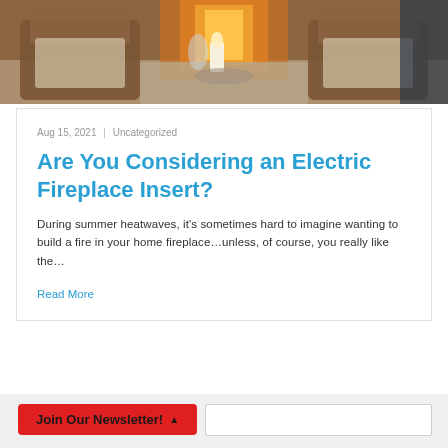[Figure (photo): Interior living room photo showing wicker chairs around a coffee table with a lit fireplace in the background, candle and decorative items on the table]
Aug 15, 2021  |  Uncategorized
Are You Considering an Electric Fireplace Insert?
During summer heatwaves, it's sometimes hard to imagine wanting to build a fire in your home fireplace…unless, of course, you really like the…
Read More
Join Our Newsletter! ▲